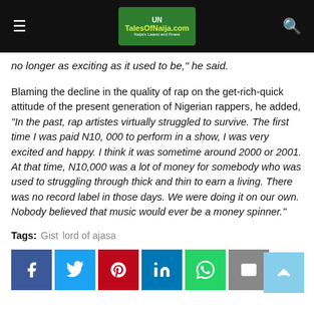TalesOfNaija.com
no longer as exciting as it used to be," he said.
Blaming the decline in the quality of rap on the get-rich-quick attitude of the present generation of Nigerian rappers, he added, “In the past, rap artistes virtually struggled to survive. The first time I was paid N10, 000 to perform in a show, I was very excited and happy. I think it was sometime around 2000 or 2001. At that time, N10,000 was a lot of money for somebody who was used to struggling through thick and thin to earn a living. There was no record label in those days. We were doing it on our own. Nobody believed that music would ever be a money spinner.”
Tags: Gist  lord of ajasa
[Figure (other): Social share buttons: Facebook, Twitter, Pinterest, LinkedIn, WhatsApp, Email. Back-to-top button.]